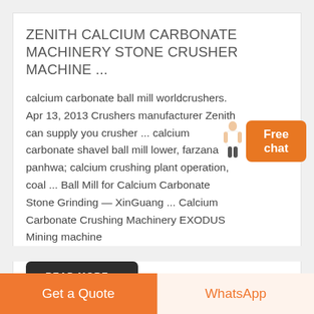ZENITH CALCIUM CARBONATE MACHINERY STONE CRUSHER MACHINE ...
calcium carbonate ball mill worldcrushers. Apr 13, 2013 Crushers manufacturer Zenith can supply you crusher ... calcium carbonate shavel ball mill lower, farzana panhwa; calcium crushing plant operation, coal ... Ball Mill for Calcium Carbonate Stone Grinding — XinGuang ... Calcium Carbonate Crushing Machinery EXODUS Mining machine
READ MORE...
[Figure (photo): Construction or mining site with excavators, dirt mounds, green fields in background, and steel structures]
Get a Quote
WhatsApp